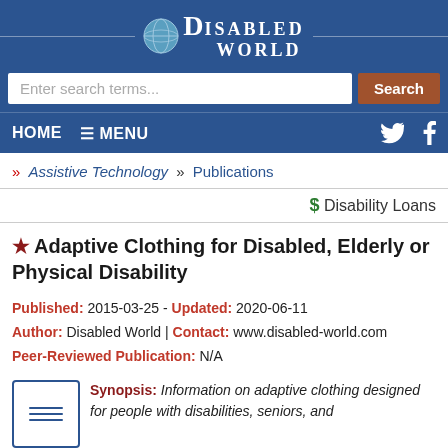[Figure (logo): Disabled World logo with globe icon, white text on dark blue background]
Enter search terms... Search | HOME ☰ MENU
» Assistive Technology » Publications
$ Disability Loans
★ Adaptive Clothing for Disabled, Elderly or Physical Disability
Published: 2015-03-25 - Updated: 2020-06-11
Author: Disabled World | Contact: www.disabled-world.com
Peer-Reviewed Publication: N/A
Synopsis: Information on adaptive clothing designed for people with disabilities, seniors, and mobility challenged. Includes definitions and terms